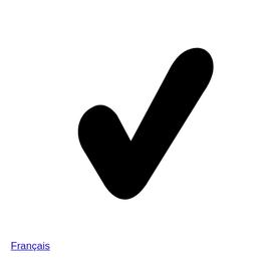[Figure (illustration): Large black checkmark/tick symbol centered on the page]
Français